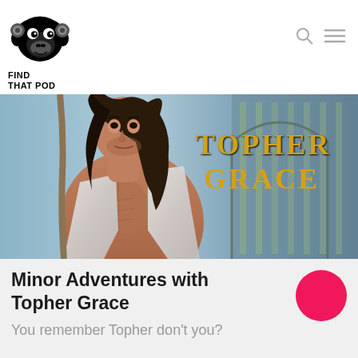[Figure (logo): Find That Pod logo: monkey head with headphones, black and white illustration, with text FIND THAT POD below]
[Figure (photo): Podcast cover art showing a shirtless man with long dark hair wearing an open white shirt, with the text TOPHER GRACE in gold letters on the right side, architectural background]
Minor Adventures with Topher Grace
You remember Topher don't you?